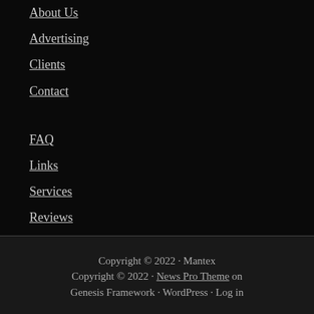About Us
Advertising
Clients
Contact
FAQ
Links
Services
Reviews
Sitemap
T & C's
Testimonials
Privacy
Copyright © 2022 · Mantex Copyright © 2022 · News Pro Theme on Genesis Framework · WordPress · Log in